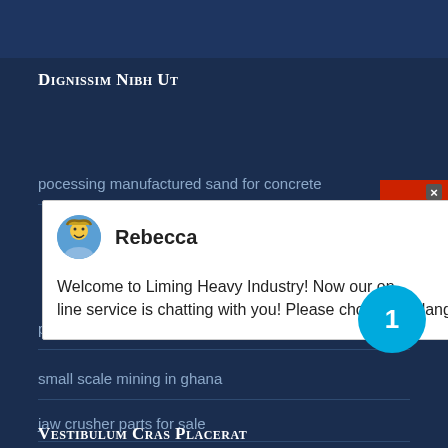Dignissim Nibh Ut
pocessing manufactured sand for concrete
[Figure (screenshot): Chat popup from Rebecca at Liming Heavy Industry with welcome message asking user to choose language]
price ball mill grinding media
small scale mining in ghana
jaw crusher parts for sale
Vestibulum Cras Placerat